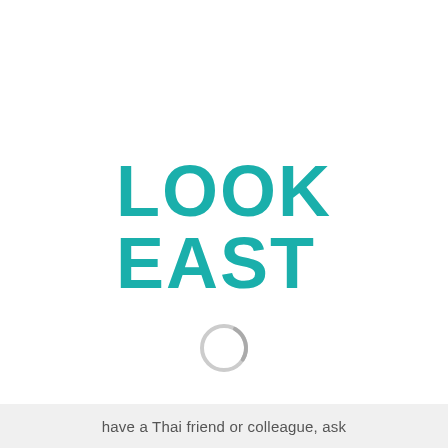LOOK EAST
[Figure (other): A loading spinner icon — a partial circle arc in light gray, indicating a loading/spinning animation state.]
have a Thai friend or colleague, ask